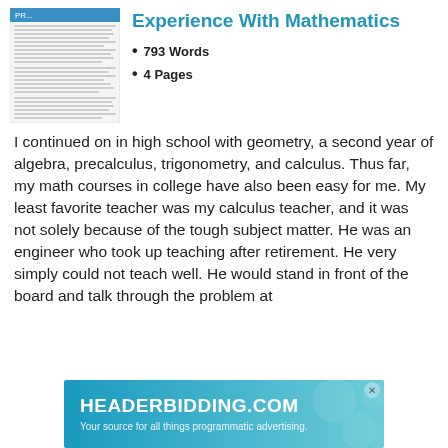[Figure (screenshot): Thumbnail preview of a document page showing text content]
Experience With Mathematics
793 Words
4 Pages
I continued on in high school with geometry, a second year of algebra, precalculus, trigonometry, and calculus. Thus far, my math courses in college have also been easy for me. My least favorite teacher was my calculus teacher, and it was not solely because of the tough subject matter. He was an engineer who took up teaching after retirement. He very simply could not teach well. He would stand in front of the board and talk through the problem at
[Figure (screenshot): HEADERBIDDING.COM advertisement banner - Your source for all things programmatic advertising.]